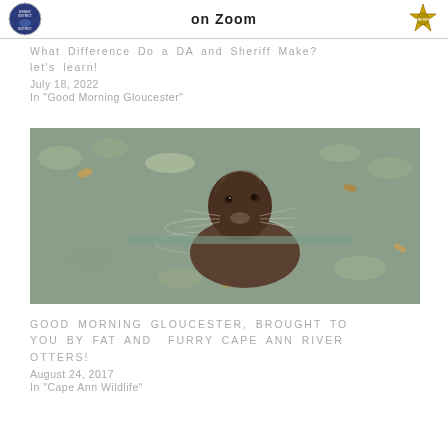[Figure (other): Top banner with two official logos (Essex District blue circular seal on left, gold sheriff star badge on right) and the text 'on Zoom' in the center]
What Difference Do a DA and Sheriff Make? let's learn!
July 18, 2022
In "Good Morning Gloucester"
[Figure (photo): A river otter swimming among lily pads and leaves, looking upward toward camera, wet fur visible, in a pond or river setting]
GOOD MORNING GLOUCESTER, BROUGHT TO YOU BY FAT AND FURRY CAPE ANN RIVER OTTERS!
August 24, 2017
In "Cape Ann Wildlife"